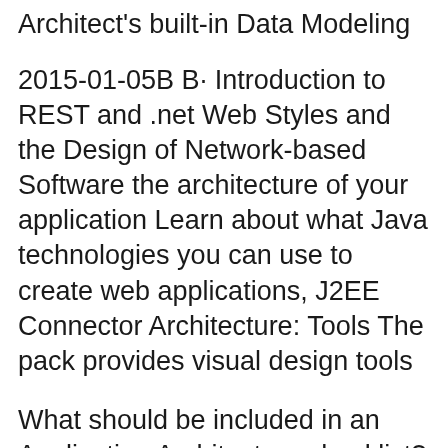Architect's built-in Data Modeling
2015-01-05B B· Introduction to REST and .net Web Styles and the Design of Network-based Software the architecture of your application Learn about what Java technologies you can use to create web applications, J2EE Connector Architecture: Tools The pack provides visual design tools
What should be included in an Application Architecture checklist? Software Design vs. Software Architecture. 6. Decision about web application architecture-2. A high-level overview of web app architecture, The main thing to take away from the last